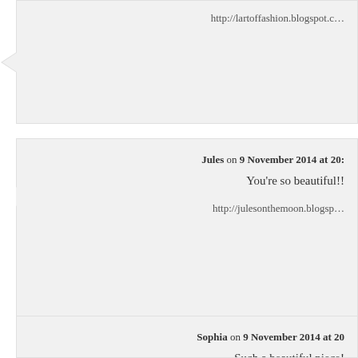http://lartoffashion.blogspot.c...
Jules on 9 November 2014 at 20: You're so beautiful!! http://julesonthemoon.blogsp...
Sophia on 9 November 2014 at 20: Such a beautiful piece! Sophia // sophiebysophia.blogsp...